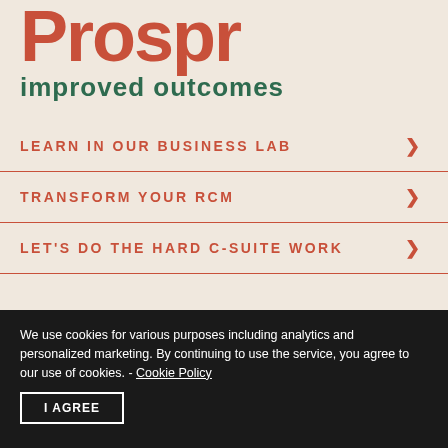Prospr improved outcomes
LEARN IN OUR BUSINESS LAB
TRANSFORM YOUR RCM
LET'S DO THE HARD C-SUITE WORK
We use cookies for various purposes including analytics and personalized marketing. By continuing to use the service, you agree to our use of cookies. - Cookie Policy
I AGREE